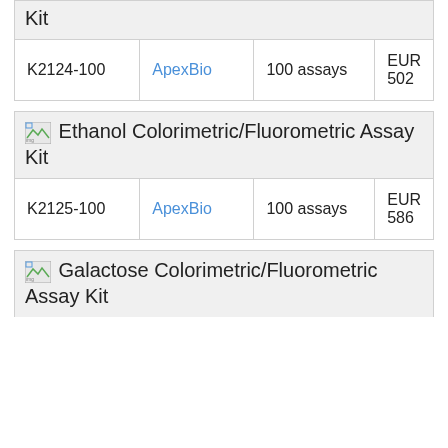| Cat# | Vendor | Qty | Price |
| --- | --- | --- | --- |
| K2124-100 | ApexBio | 100 assays | EUR 502 |
|  |  |  |  |
| --- | --- | --- | --- |
|  | Ethanol Colorimetric/Fluorometric Assay Kit |  |  |
| Cat# | Vendor | Qty | Price |
| --- | --- | --- | --- |
| K2125-100 | ApexBio | 100 assays | EUR 586 |
|  |  |  |  |
| --- | --- | --- | --- |
|  | Galactose Colorimetric/Fluorometric Assay Kit |  |  |